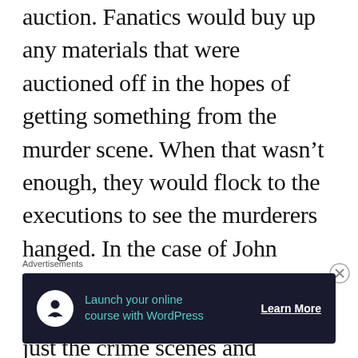auction. Fanatics would buy up any materials that were auctioned off in the hopes of getting something from the murder scene. When that wasn't enough, they would flock to the executions to see the murderers hanged. In the case of John Thurtell, an estimated 40,000 people attended. But it wasn't just the crime scenes and
Advertisements
[Figure (other): Advertisement banner with dark background showing 'Launch your online course with WordPress' with a Learn More button and a tree/person icon.]